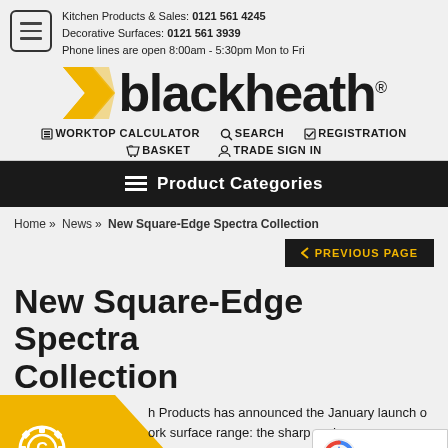Kitchen Products & Sales: 0121 561 4245
Decorative Surfaces: 0121 561 3939
Phone lines are open 8:00am - 5:30pm Mon to Fri
[Figure (logo): Blackheath logo with yellow arrow/chevron and bold black text]
WORKTOP CALCULATOR  SEARCH  REGISTRATION  BASKET  TRADE SIGN IN
Product Categories
Home » News » New Square-Edge Spectra Collection
PREVIOUS PAGE
New Square-Edge Spectra Collection
h Products has announced the January launch o
ork surface range: the sharp and